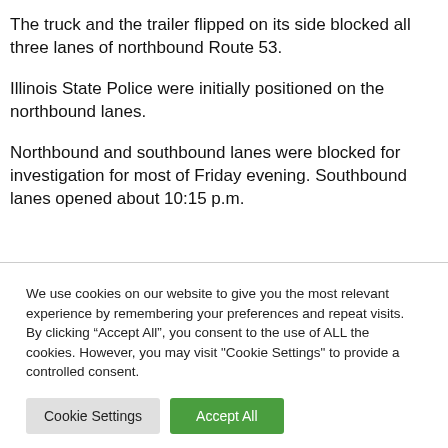The truck and the trailer flipped on its side blocked all three lanes of northbound Route 53.
Illinois State Police were initially positioned on the northbound lanes.
Northbound and southbound lanes were blocked for investigation for most of Friday evening. Southbound lanes opened about 10:15 p.m.
We use cookies on our website to give you the most relevant experience by remembering your preferences and repeat visits. By clicking “Accept All”, you consent to the use of ALL the cookies. However, you may visit "Cookie Settings" to provide a controlled consent.